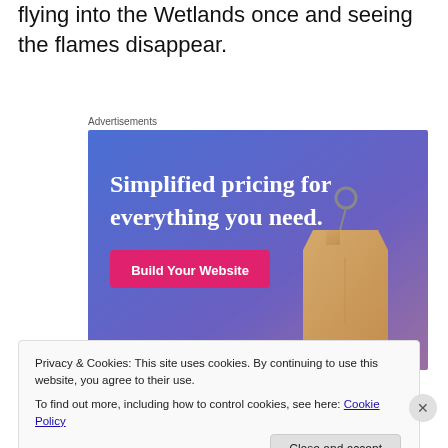flying into the Wetlands once and seeing the flames disappear.
Advertisements
[Figure (illustration): Advertisement banner with gradient blue-purple background showing 'Simplified pricing for everything you need.' text in white serif font, a pink 'Build Your Website' button, and a tan price tag illustration on the right.]
Privacy & Cookies: This site uses cookies. By continuing to use this website, you agree to their use.
To find out more, including how to control cookies, see here: Cookie Policy